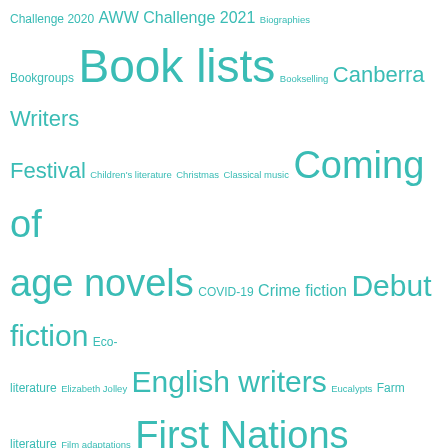[Figure (other): Tag cloud of literary/cultural topics in teal color with varying font sizes indicating frequency/weight. Topics include: Challenge 2020, AWW Challenge 2021, Biographies, Bookgroups, Book lists, Bookselling, Canberra Writers Festival, Children's literature, Christmas, Classical music, Coming of age novels, COVID-19, Crime fiction, Debut fiction, Eco-literature, Elizabeth Jolley, English writers, Eucalypts, Farm literature, Film adaptations, First Nations Australia literature, Griffyn Ensemble, Gum trees, Helen Garner, Historical fiction, History, Holocaust literature, Irma Gold, Jane Austen, Japan, Japanese writers, Journalists, Juvenilia, LGBTQIA literature, Library of America, Meanjin, Migrant literature, NAIDOC Week, National Library of Australia, Nature writing, New releases, Nigel Featherstone, Non-fiction November, Novellas, Obituaries, Poetry, Publishers, Publishing, Racism, Satire, Shadow Man Asian Literary Prize 2011, Short stories, Six degrees of]